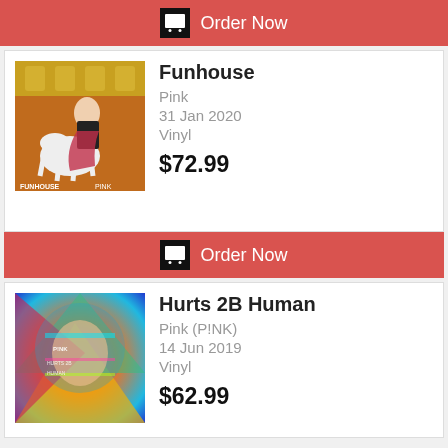[Figure (other): Order Now button with cart icon, red background, top of page]
[Figure (photo): Funhouse album cover - Pink artist, woman on carousel horse, red and gold circus theme]
Funhouse
Pink
31 Jan 2020
Vinyl
$72.99
[Figure (other): Order Now button with cart icon, red background, middle of page]
[Figure (photo): Hurts 2B Human album cover - Pink (P!NK) artist, colorful psychedelic portrait]
Hurts 2B Human
Pink (P!NK)
14 Jun 2019
Vinyl
$62.99